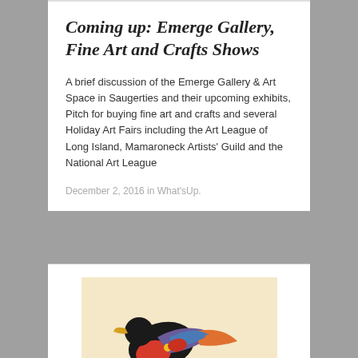Coming up: Emerge Gallery, Fine Art and Crafts Shows
A brief discussion of the Emerge Gallery & Art Space in Saugerties and their upcoming exhibits, Pitch for buying fine art and crafts and several Holiday Art Fairs including the Art League of Long Island, Mamaroneck Artists’ Guild and the National Art League
December 2, 2016 in What’sUp.
[Figure (illustration): Colorful decorative bird illustration with red, orange, blue, purple, and black plumage on a beige/cream background with small plant elements at the bottom]